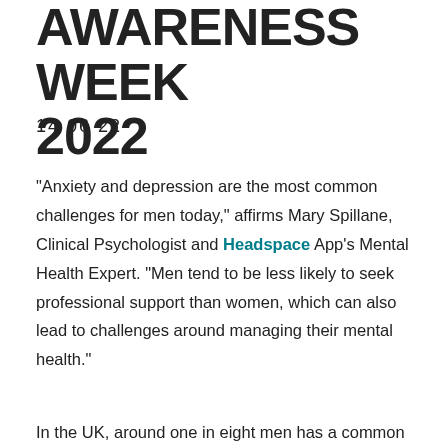AWARENESS WEEK 2022
14 06 22
“Anxiety and depression are the most common challenges for men today,” affirms Mary Spillane, Clinical Psychologist and Headspace App’s Mental Health Expert. “Men tend to be less likely to seek professional support than women, which can also lead to challenges around managing their mental health.”
In the UK, around one in eight men has a common